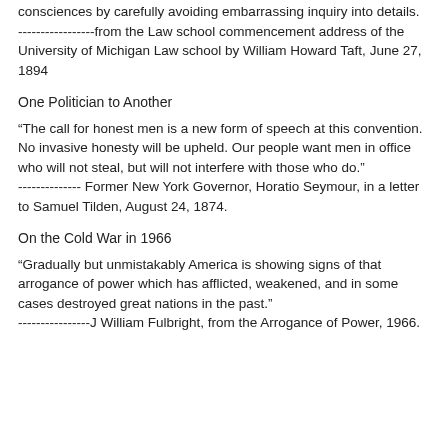consciences by carefully avoiding embarrassing inquiry into details.
-----------------from the Law school commencement address of the University of Michigan Law school by William Howard Taft, June 27, 1894
One Politician to Another
“The call for honest men is a new form of speech at this convention. No invasive honesty will be upheld. Our people want men in office who will not steal, but will not interfere with those who do.”
-------------- Former New York Governor, Horatio Seymour, in a letter to Samuel Tilden, August 24, 1874.
On the Cold War in 1966
“Gradually but unmistakably America is showing signs of that arrogance of power which has afflicted, weakened, and in some cases destroyed great nations in the past.”
----------------J William Fulbright, from the Arrogance of Power, 1966.